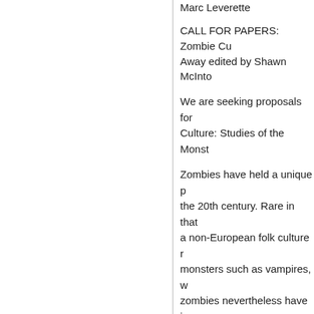Marc Leverette
CALL FOR PAPERS: Zombie Cu... Away edited by Shawn McInt...
We are seeking proposals for... Culture: Studies of the Monst...
Zombies have held a unique p... the 20th century. Rare in that... a non-European folk culture r... monsters such as vampires, w... zombies nevertheless have in... in popular entertainment.=20
CFP: Early American
updated: Friday, October 24
Jason Horn